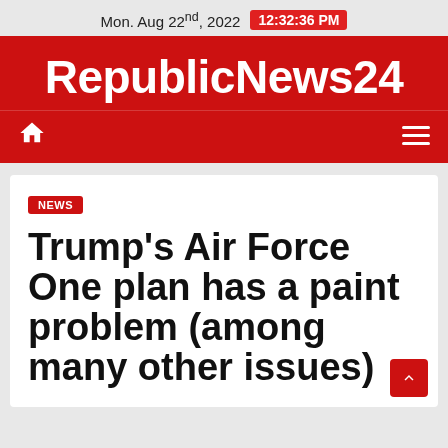Mon. Aug 22nd, 2022  12:32:36 PM
RepublicNews24
NEWS
Trump's Air Force One plan has a paint problem (among many other issues)